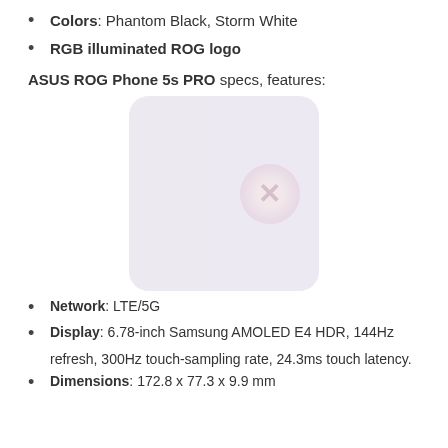Colors: Phantom Black, Storm White
RGB illuminated ROG logo
ASUS ROG Phone 5s PRO specs, features:
[Figure (photo): Back view of ASUS ROG Phone 5s PRO showing two panels with ROG logo circle on right side, very light/faded image]
Network: LTE/5G
Display: 6.78-inch Samsung AMOLED E4 HDR, 144Hz refresh, 300Hz touch-sampling rate, 24.3ms touch latency.
Dimensions: 172.8 x 77.3 x 9.9 mm